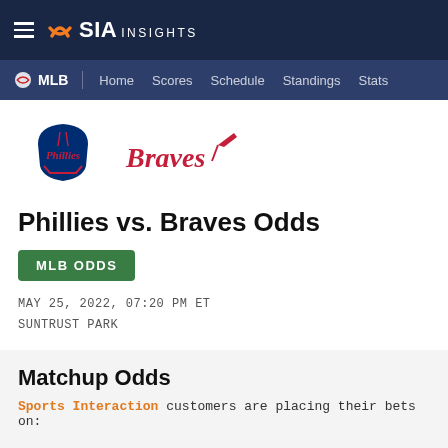SIA INSIGHTS
MLB | Home Scores Schedule Standings Stats
[Figure (logo): Philadelphia Phillies logo and Atlanta Braves logo side by side]
Phillies vs. Braves Odds
MLB ODDS
MAY 25, 2022, 07:20 PM ET
SUNTRUST PARK
Matchup Odds
Sports Interaction customers are placing their bets on:
| Team | Runline | Moneyline |
| --- | --- | --- |